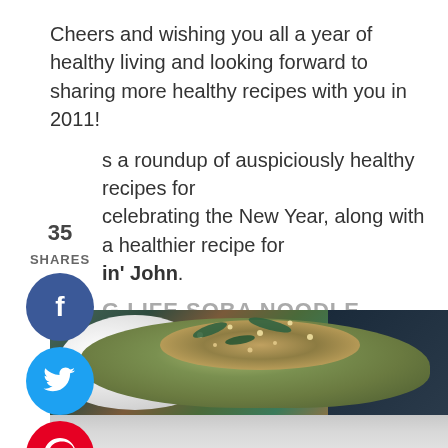Cheers and wishing you all a year of healthy living and looking forward to sharing more healthy recipes with you in 2011!
35 SHARES
[Figure (infographic): Social share buttons: Facebook (blue circle with f), Twitter (cyan circle with bird), Pinterest (red circle with P, badge 35), Yum (orange circle with yum text)]
s a roundup of auspiciously healthy recipes for celebrating the New Year, along with a healthier recipe for in' John.
G LIFE SOBA NOODLE RECIPES
[Figure (photo): Food photo showing a bowl of soba noodles with garnish and sesame seeds, plus a second lighter background image below]